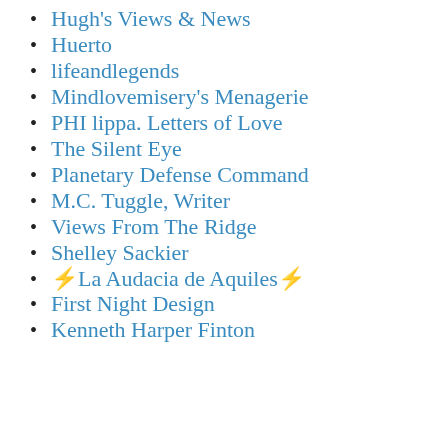Hugh's Views & News
Huerto
lifeandlegends
Mindlovemisery's Menagerie
PHI lippa. Letters of Love
The Silent Eye
Planetary Defense Command
M.C. Tuggle, Writer
Views From The Ridge
Shelley Sackier
⚡La Audacia de Aquiles⚡
First Night Design
Kenneth Harper Finton